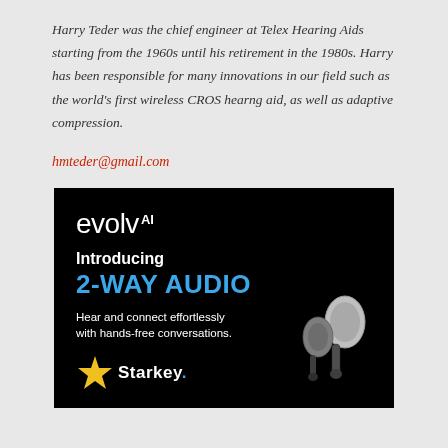Harry Teder was the chief engineer at Telex Hearing Aids starting from the 1960s until his retirement in the 1980s. Harry has been responsible for many innovations in our field such as the world's first wireless CROS hearng aid, as well as adaptive compression.
hmteder@gmail.com
[Figure (illustration): Starkey evolv AI advertisement with '2-Way Audio' headline on black background, showing hearing aids and Starkey logo with star]